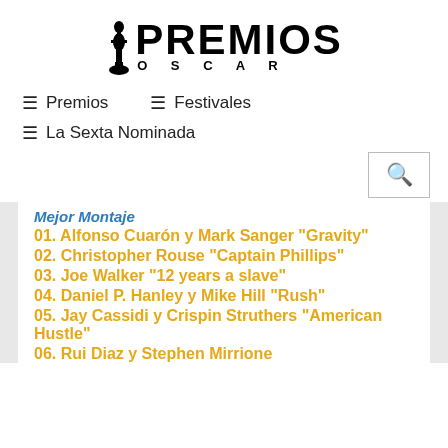[Figure (logo): Premios Oscar logo with Oscar statuette figure and bold PREMIOS text above OSCAR lettering]
≡ Premios
≡ Festivales
≡ La Sexta Nominada
Mejor Montaje (partially visible/cut off)
01. Alfonso Cuarón y Mark Sanger "Gravity"
02. Christopher Rouse "Captain Phillips"
03. Joe Walker "12 years a slave"
04. Daniel P. Hanley y Mike Hill "Rush"
05. Jay Cassidi y Crispin Struthers "American Hustle"
06. Rui Diaz y Stephen Mirrione (cut off)